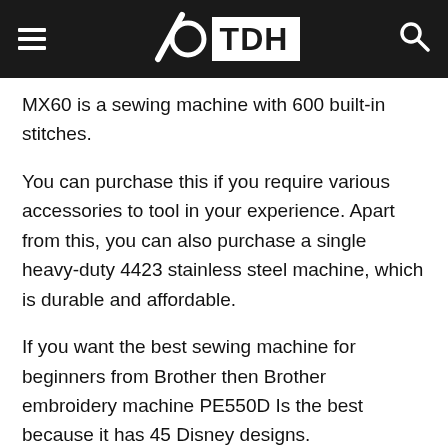TDH
MX60 is a sewing machine with 600 built-in stitches.
You can purchase this if you require various accessories to tool in your experience. Apart from this, you can also purchase a single heavy-duty 4423 stainless steel machine, which is durable and affordable.
If you want the best sewing machine for beginners from Brother then Brother embroidery machine PE550D Is the best because it has 45 Disney designs.